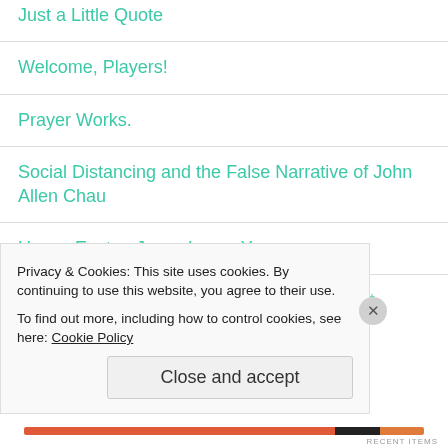Just a Little Quote
Welcome, Players!
Prayer Works.
Social Distancing and the False Narrative of John Allen Chau
Happy Easter. Jesus Loves You.
Pet Grief, or The One Kind Person on Reddit
Privacy & Cookies: This site uses cookies. By continuing to use this website, you agree to their use.
To find out more, including how to control cookies, see here: Cookie Policy
Close and accept